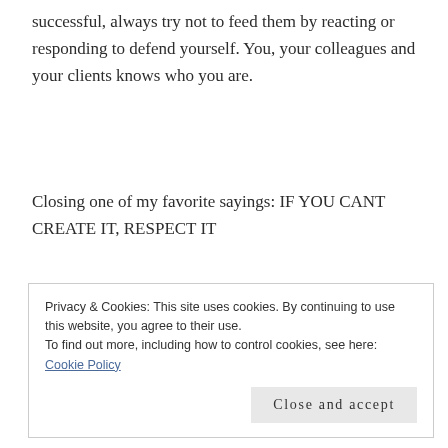successful, always try not to feed them by reacting or responding to defend yourself. You, your colleagues and your clients knows who you are.
Closing one of my favorite sayings: IF YOU CANT CREATE IT, RESPECT IT
Privacy & Cookies: This site uses cookies. By continuing to use this website, you agree to their use.
To find out more, including how to control cookies, see here: Cookie Policy